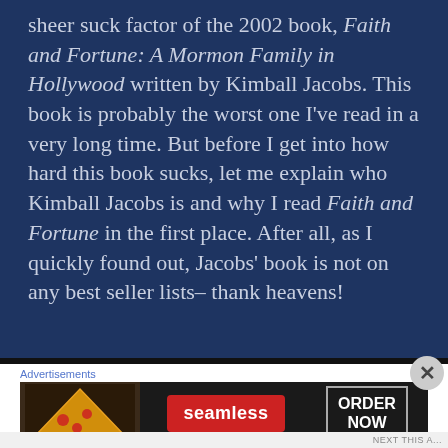sheer suck factor of the 2002 book, Faith and Fortune: A Mormon Family in Hollywood written by Kimball Jacobs. This book is probably the worst one I’ve read in a very long time. But before I get into how hard this book sucks, let me explain who Kimball Jacobs is and why I read Faith and Fortune in the first place. After all, as I quickly found out, Jacobs’ book is not on any best seller lists– thank heavens!
[Figure (infographic): Seamless food delivery advertisement banner with pizza image on the left, Seamless logo in the center on a red button, and ORDER NOW button on the right with a dark background.]
Advertisements